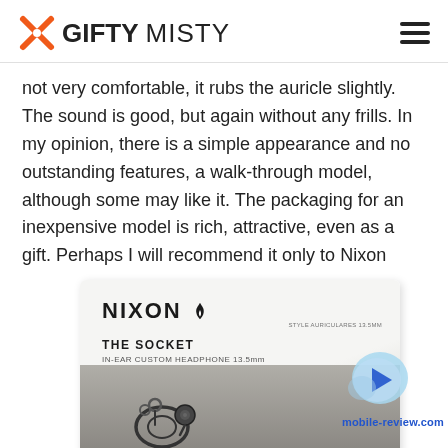GIFTY MISTY
not very comfortable, it rubs the auricle slightly. The sound is good, but again without any frills. In my opinion, there is a simple appearance and no outstanding features, a walk-through model, although some may like it. The packaging for an inexpensive model is rich, attractive, even as a gift. Perhaps I will recommend it only to Nixon fans, if there are any in nature.
[Figure (photo): Nixon The Socket in-ear custom headphone 13.5mm product packaging box photo with earphones visible, watermarked with mobile-review.com logo]